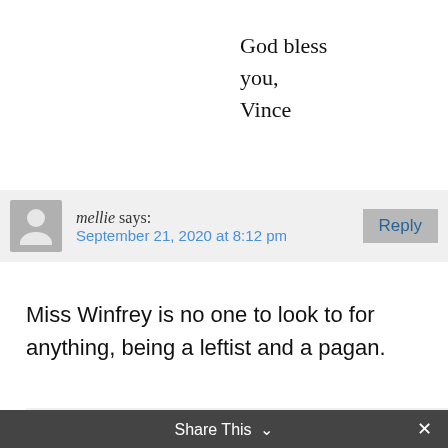God bless you, Vince
mellie says:
September 21, 2020 at 8:12 pm
Miss Winfrey is no one to look to for anything, being a leftist and a pagan.
vfrese@divorcedcatho s:
January 3, 2021 at 6:32 pm
Share This  ×